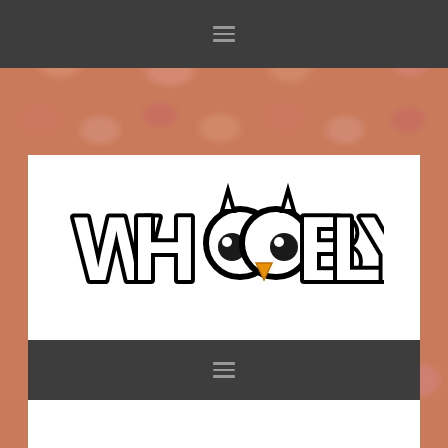[Figure (other): Background image of baked beans in tomato sauce, blurred, reddish-orange tones]
≡ (hamburger/menu icon in dark top bar)
[Figure (logo): WHOOBLY logo - stylized cartoon text with an owl face incorporated into the lettering, black outline on white background]
[Figure (other): Dark gray navigation bar with hamburger/menu icon (≡) centered]